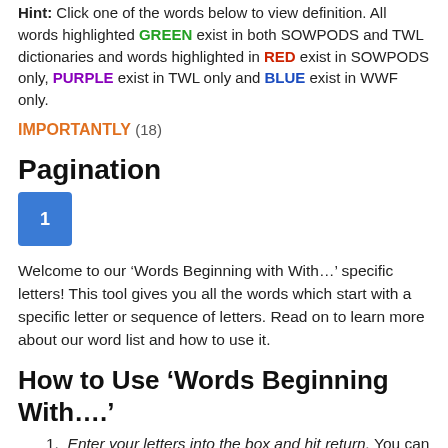Hint: Click one of the words below to view definition. All words highlighted GREEN exist in both SOWPODS and TWL dictionaries and words highlighted in RED exist in SOWPODS only, PURPLE exist in TWL only and BLUE exist in WWF only.
IMPORTANTLY (18)
Pagination
[Figure (other): Blue square button with number 1, representing pagination]
Welcome to our ‘Words Beginning with With…’ specific letters! This tool gives you all the words which start with a specific letter or sequence of letters. Read on to learn more about our word list and how to use it.
How to Use ‘Words Beginning With….’
Enter your letters into the box and hit return. You can enter between 1 and 12 letters. These letters are the letters that will start your word.